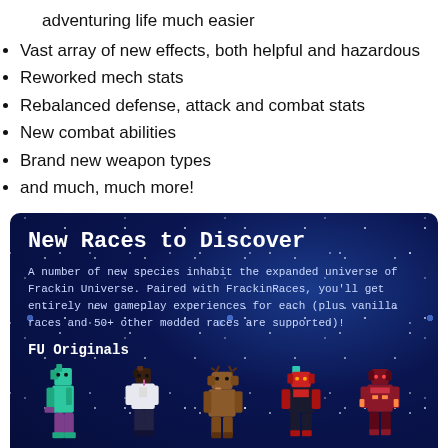adventuring life much easier
Vast array of new effects, both helpful and hazardous
Reworked mech stats
Rebalanced defense, attack and combat stats
New combat abilities
Brand new weapon types
and much, much more!
New Races to Discover
A number of new species inhabit the expanded universe of Frackin Universe. Paired with FrackinRaces, you'll get entirely new gameplay experiences for each (plus vanilla races and 50+ other modded races are supported)!
FU Originals
[Figure (illustration): Five pixel-art character sprites labeled: Eld'uukhar, X'i, Thelusian, Veluu'ish, Pharitu]